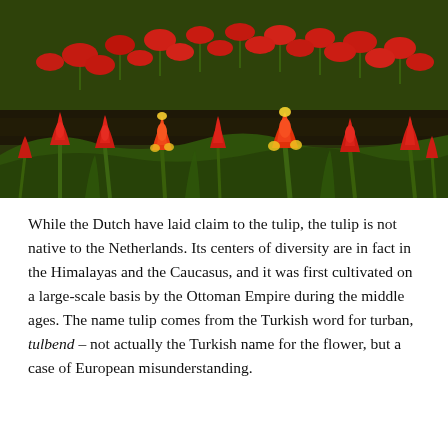[Figure (photo): A field of red and yellow tulips in bloom, photographed at low angle with warm golden light. Dense rows of tulips stretch across the frame, with dark soil visible between rows.]
While the Dutch have laid claim to the tulip, the tulip is not native to the Netherlands. Its centers of diversity are in fact in the Himalayas and the Caucasus, and it was first cultivated on a large-scale basis by the Ottoman Empire during the middle ages. The name tulip comes from the Turkish word for turban, tulbend – not actually the Turkish name for the flower, but a case of European misunderstanding.